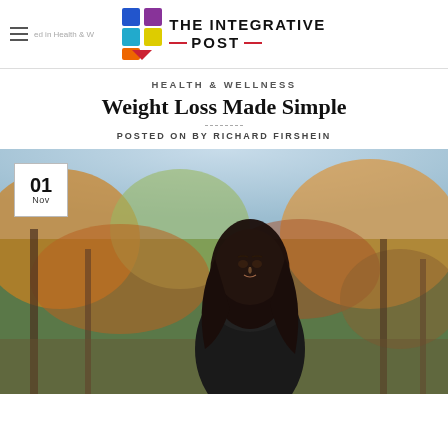THE INTEGRATIVE POST
HEALTH & WELLNESS
Weight Loss Made Simple
POSTED ON BY RICHARD FIRSHEIN
[Figure (photo): Young woman with long dark hair wearing a black scarf, photographed outdoors in an autumn park setting with colorful foliage in the background. Date badge showing '01 Nov' overlaid in top-left corner.]